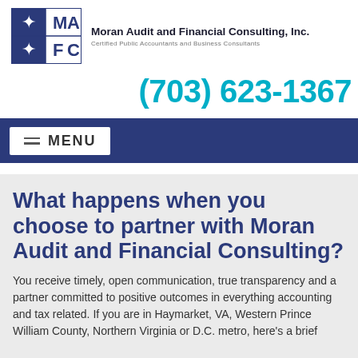[Figure (logo): MAFC logo - 2x2 grid with stars and letters M, A, F, C. Company name: Moran Audit and Financial Consulting, Inc. Certified Public Accountants and Business Consultants]
(703) 623-1367
MENU
What happens when you choose to partner with Moran Audit and Financial Consulting?
You receive timely, open communication, true transparency and a partner committed to positive outcomes in everything accounting and tax related. If you are in Haymarket, VA, Western Prince William County, Northern Virginia or D.C. metro, here's a brief